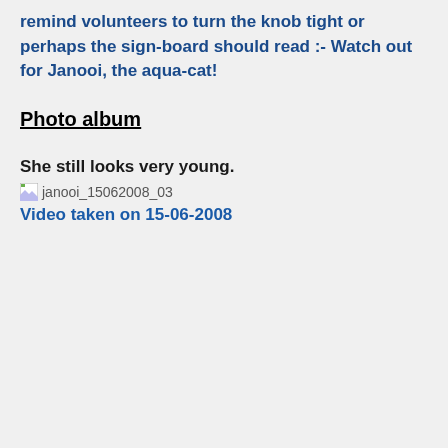remind volunteers to turn the knob tight or perhaps the sign-board should read :- Watch out for Janooi, the aqua-cat!
Photo album
She still looks very young.
[Figure (photo): Broken image placeholder labeled janooi_15062008_03]
Video taken on 15-06-2008